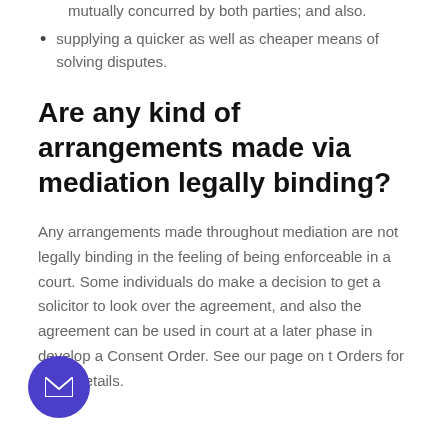mutually concurred by both parties; and also.
supplying a quicker as well as cheaper means of solving disputes.
Are any kind of arrangements made via mediation legally binding?
Any arrangements made throughout mediation are not legally binding in the feeling of being enforceable in a court. Some individuals do make a decision to get a solicitor to look over the agreement, and also the agreement can be used in court at a later phase in develop a Consent Order. See our page on t Orders for more details.